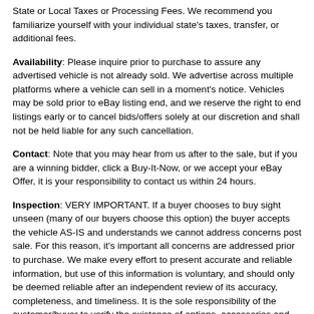State or Local Taxes or Processing Fees. We recommend you familiarize yourself with your individual state's taxes, transfer, or additional fees.
Availability: Please inquire prior to purchase to assure any advertised vehicle is not already sold. We advertise across multiple platforms where a vehicle can sell in a moment's notice. Vehicles may be sold prior to eBay listing end, and we reserve the right to end listings early or to cancel bids/offers solely at our discretion and shall not be held liable for any such cancellation.
Contact: Note that you may hear from us after to the sale, but if you are a winning bidder, click a Buy-It-Now, or we accept your eBay Offer, it is your responsibility to contact us within 24 hours.
Inspection: VERY IMPORTANT. If a buyer chooses to buy sight unseen (many of our buyers choose this option) the buyer accepts the vehicle AS-IS and understands we cannot address concerns post sale. For this reason, it's important all concerns are addressed prior to purchase. We make every effort to present accurate and reliable information, but use of this information is voluntary, and should only be deemed reliable after an independent review of its accuracy, completeness, and timeliness. It is the sole responsibility of the customer/buyer to verify the existence of options, accessories and the vehicle condition before time of sale.
Payment: We require a non-refundable $500 deposit within 48 hours of winning or commitment to purchase. Full payment is required within 7 days of offer acceptance unless other arrangements are agreed to in writing. If deposit and/or full payment are not provided within said timeframe, all vehicles will be relisted and transaction will be considered void. For balance